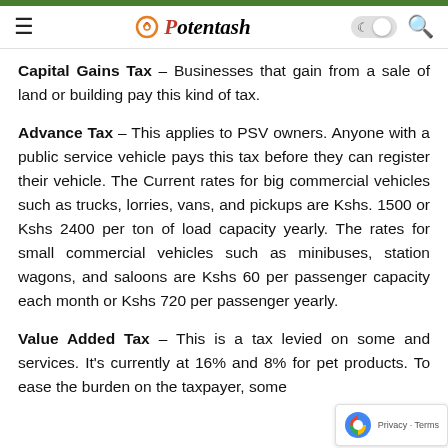Potentash
Capital Gains Tax – Businesses that gain from a sale of land or building pay this kind of tax.
Advance Tax – This applies to PSV owners. Anyone with a public service vehicle pays this tax before they can register their vehicle. The Current rates for big commercial vehicles such as trucks, lorries, vans, and pickups are Kshs. 1500 or Kshs 2400 per ton of load capacity yearly. The rates for small commercial vehicles such as minibuses, station wagons, and saloons are Kshs 60 per passenger capacity each month or Kshs 720 per passenger yearly.
Value Added Tax – This is a tax levied on some and services. It's currently at 16% and 8% for pet products. To ease the burden on the taxpayer, some